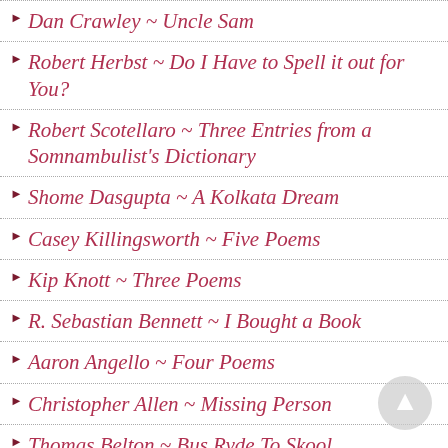Dan Crawley ~ Uncle Sam
Robert Herbst ~ Do I Have to Spell it out for You?
Robert Scotellaro ~ Three Entries from a Somnambulist's Dictionary
Shome Dasgupta ~ A Kolkata Dream
Casey Killingsworth ~ Five Poems
Kip Knott ~ Three Poems
R. Sebastian Bennett ~ I Bought a Book
Aaron Angello ~ Four Poems
Christopher Allen ~ Missing Person
Thomas Belton ~ Bus Ryde To Skool
Richard Leise ~ Jennifer
D. E. Hardy ~ Good Fences Make Good Neighbors